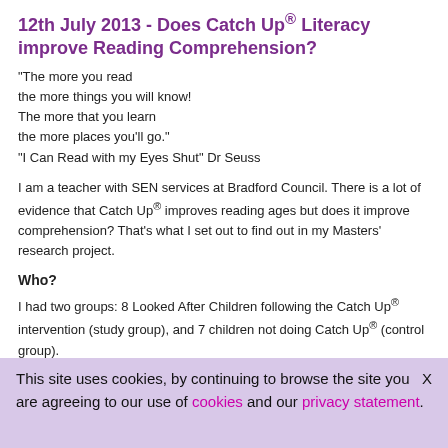12th July 2013 - Does Catch Up® Literacy improve Reading Comprehension?
"The more you read
the more things you will know!
The more that you learn
the more places you'll go."
"I Can Read with my Eyes Shut" Dr Seuss
I am a teacher with SEN services at Bradford Council. There is a lot of evidence that Catch Up® improves reading ages but does it improve comprehension? That's what I set out to find out in my Masters' research project.
Who?
I had two groups: 8 Looked After Children following the Catch Up® intervention (study group), and 7 children not doing Catch Up® (control group).
What I did...
This site uses cookies, by continuing to browse the site you are agreeing to our use of cookies and our privacy statement.